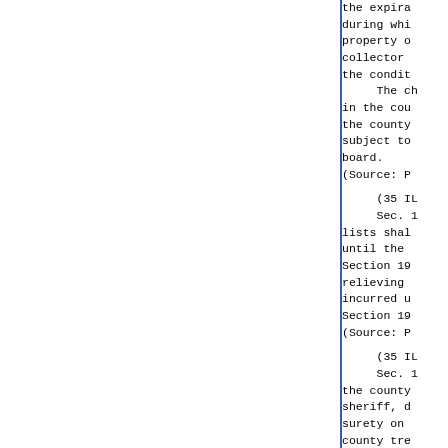the expiration of the term of office during which the bond is furnished, property of the collector, situated collector is the collector, until the conditions thereof. The chairman of the county b in the county and the county cler the county collector, and the bo subject to the same provisions board. (Source: P.A. 87-1189; 88-455.)
(35 ILCS 200/19-50) Sec. 19-50. Filing of county lists shall not be placed in the until the bond has been approve Section 19-45. Nothing in this relieving the securities of a incurred under a bond not approv Section 19-45. (Source: P.A. 87-1189; 88-455.)
(35 ILCS 200/19-55) Sec. 19-55. Sureties on col the county board, clerk of the sheriff, deputy sheriff or coron surety on the bond of a county, county treasurer. (Source: Laws 1965, p. 631; P.A.